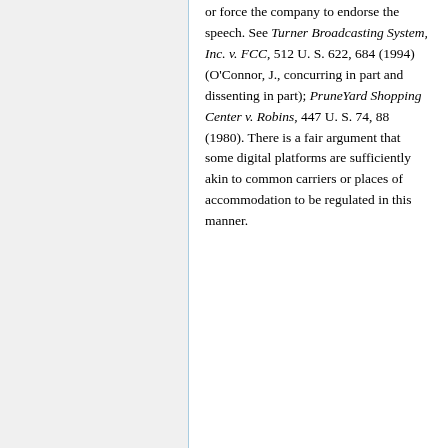or force the company to endorse the speech. See Turner Broadcasting System, Inc. v. FCC, 512 U. S. 622, 684 (1994) (O'Connor, J., concurring in part and dissenting in part); PruneYard Shopping Center v. Robins, 447 U. S. 74, 88 (1980). There is a fair argument that some digital platforms are sufficiently akin to common carriers or places of accommodation to be regulated in this manner.